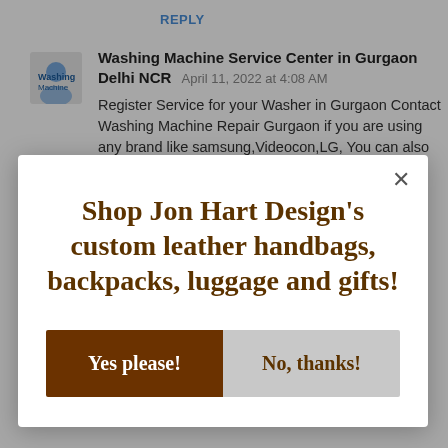REPLY
Washing Machine Service Center in Gurgaon Delhi NCR   April 11, 2022 at 4:08 AM
Register Service for your Washer in Gurgaon Contact Washing Machine Repair Gurgaon if you are using any brand like samsung,Videocon,LG, You can also Contact them Samsung Washing
[Figure (infographic): Modal popup dialog with text 'Shop Jon Hart Design's custom leather handbags, backpacks, luggage and gifts!' and two buttons: 'Yes please!' (dark brown) and 'No, thanks!' (gray). An X close button is in the top right.]
NCR   April 14, 2022 at 3:54 AM